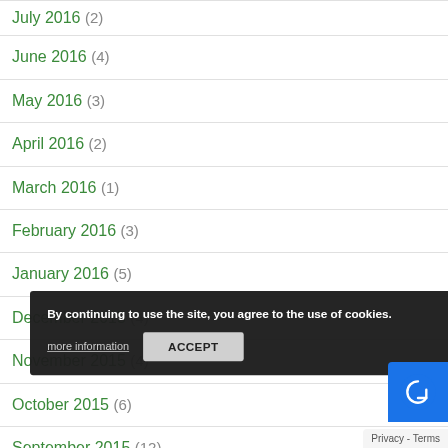July 2016 (2)
June 2016 (4)
May 2016 (3)
April 2016 (2)
March 2016 (1)
February 2016 (3)
January 2016 (5)
December 2015 (4)
November 2015 (4)
October 2015 (6)
September 2015 (12)
August 2015 (10)
July 2015 (8)
By continuing to use the site, you agree to the use of cookies.
more information
ACCEPT
Privacy - Terms